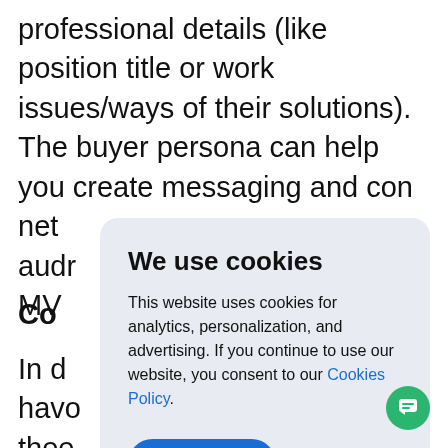professional details (like position title or work issues/ways of their solutions). The buyer persona can help you create messaging and con...net aud...r MV...
Co...
In d...hav...o the...e res...inte...
[Figure (screenshot): Cookie consent modal dialog with title 'We use cookies', body text about analytics/personalization/advertising, a 'Cookies Policy' link, and an 'Accept' button.]